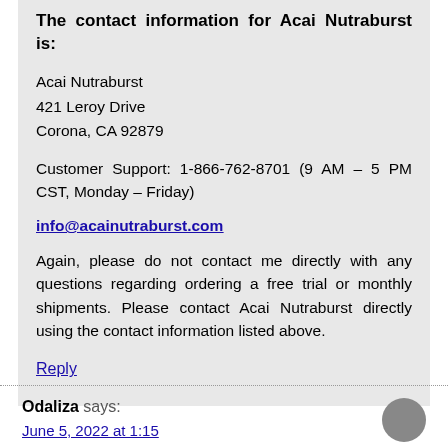The contact information for Acai Nutraburst is:
Acai Nutraburst
421 Leroy Drive
Corona, CA 92879
Customer Support: 1-866-762-8701 (9 AM – 5 PM CST, Monday – Friday)
info@acainutraburst.com
Again, please do not contact me directly with any questions regarding ordering a free trial or monthly shipments. Please contact Acai Nutraburst directly using the contact information listed above.
Reply
Odaliza says:
June 5, 2022 at 1:15